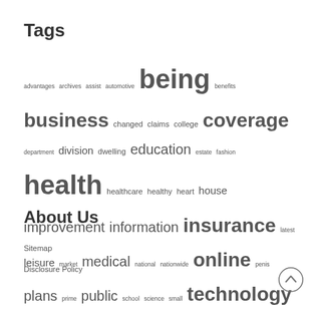Tags
advantages archives assist automotive being benefits business changed claims college coverage department division dwelling education estate fashion health healthcare healthy heart house improvement information insurance latest leisure market medical national nationwide online penis plans prime public school science small technology travel welcome wellness wholesome years
About Us
Sitemap
Disclosure Policy